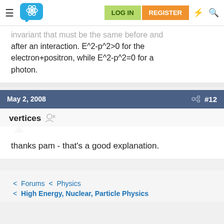[Figure (screenshot): Forum navigation bar with hamburger menu, atom logo, LOG IN (green) and REGISTER (orange) buttons, lightning and search icons]
invariant that must be the same before and after an interaction. E^2-p^2>0 for the electron+positron, while E^2-p^2=0 for a photon.
May 2, 2008  #12
vertices
thanks pam - that's a good explanation.
Forums < Physics < High Energy, Nuclear, Particle Physics